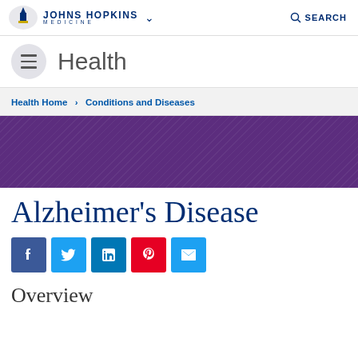JOHNS HOPKINS MEDICINE | SEARCH
Health
Health Home > Conditions and Diseases
[Figure (illustration): Purple decorative banner with diagonal pattern]
Alzheimer's Disease
[Figure (infographic): Social share buttons: Facebook, Twitter, LinkedIn, Pinterest, Email]
Overview